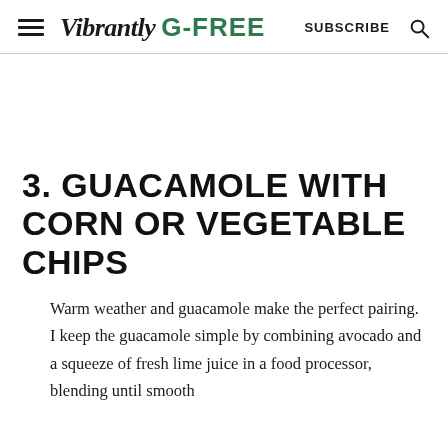Vibrantly G-FREE  SUBSCRIBE
3. GUACAMOLE WITH CORN OR VEGETABLE CHIPS
Warm weather and guacamole make the perfect pairing. I keep the guacamole simple by combining avocado and a squeeze of fresh lime juice in a food processor, blending until smooth